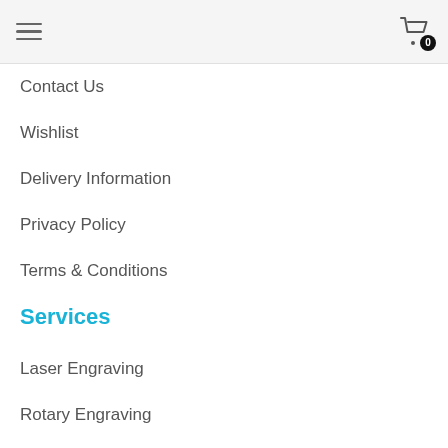Navigation menu header with hamburger icon and shopping cart with badge 0
Contact Us
Wishlist
Delivery Information
Privacy Policy
Terms & Conditions
Services
Laser Engraving
Rotary Engraving
Custom Awards
3D Printing
Custom Medals
UV LED Printing
Customer Care
My Account